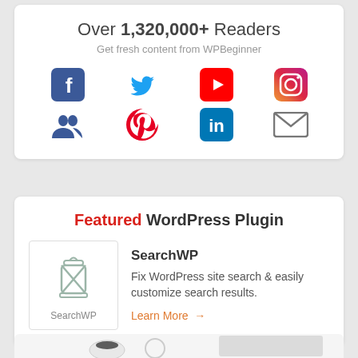Over 1,320,000+ Readers
Get fresh content from WPBeginner
[Figure (infographic): Social media icons grid: Facebook, Twitter, YouTube, Instagram (top row); Group/Users, Pinterest, LinkedIn, Email (bottom row)]
Featured WordPress Plugin
[Figure (logo): SearchWP plugin logo — lantern icon with SearchWP label]
SearchWP
Fix WordPress site search & easily customize search results.
Learn More →
[Figure (photo): Partial photo of coffee cup, earphones, and keyboard on white background]